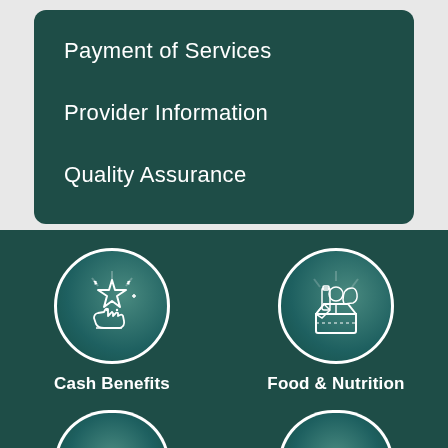Payment of Services
Provider Information
Quality Assurance
[Figure (illustration): Dark teal circular icon with a hand holding a star, representing Cash Benefits]
Cash Benefits
[Figure (illustration): Dark teal circular icon with a box of groceries/food items, representing Food & Nutrition]
Food & Nutrition